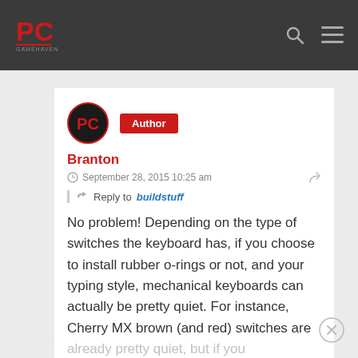PC Gamehaven - header navigation bar
[Figure (logo): PC Gamehaven logo with red PC letters and site name below]
Branton
Author
September 28, 2015 10:25 am
Reply to buildstuff
No problem! Depending on the type of switches the keyboard has, if you choose to install rubber o-rings or not, and your typing style, mechanical keyboards can actually be pretty quiet. For instance, Cherry MX brown (and red) switches are already pretty quiet, but if you install just 40A-L 6.2mm rubb...